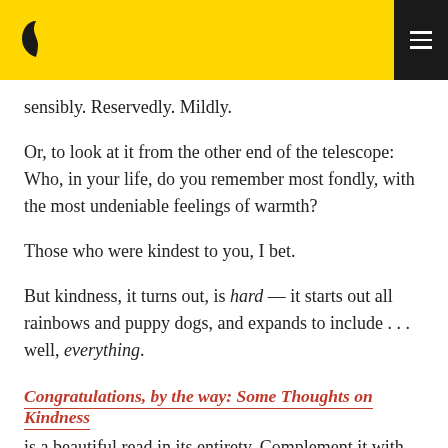[Navigation bar with logo and menu]
sensibly. Reservedly. Mildly.
Or, to look at it from the other end of the telescope: Who, in your life, do you remember most fondly, with the most undeniable feelings of warmth?
Those who were kindest to you, I bet.
But kindness, it turns out, is hard — it starts out all rainbows and puppy dogs, and expands to include . . . well, everything.
Congratulations, by the way: Some Thoughts on Kindness
is a beautiful read in its entirety. Complement it with Jack